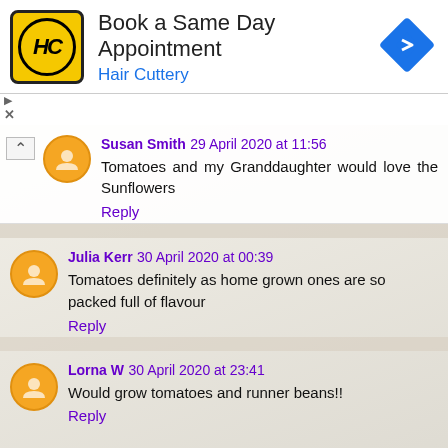[Figure (screenshot): Hair Cuttery advertisement banner with logo, text 'Book a Same Day Appointment / Hair Cuttery', and a blue navigation icon]
Susan Smith 29 April 2020 at 11:56
Tomatoes and my Granddaughter would love the Sunflowers
Reply
Julia Kerr 30 April 2020 at 00:39
Tomatoes definitely as home grown ones are so packed full of flavour
Reply
Lorna W 30 April 2020 at 23:41
Would grow tomatoes and runner beans!!
Reply